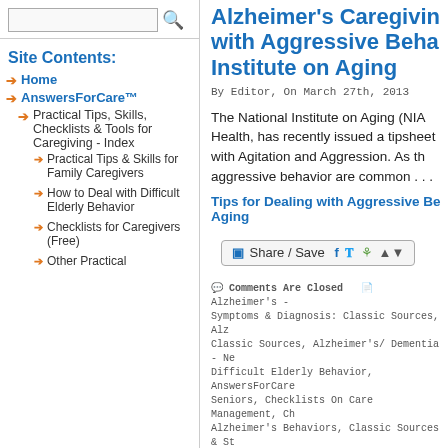[Figure (other): Search input box with magnifying glass icon]
Site Contents:
Home
AnswersForCare™
Practical Tips, Skills, Checklists & Tools for Caregiving - Index
Practical Tips & Skills for Family Caregivers
How to Deal with Difficult Elderly Behavior
Checklists for Caregivers (Free)
Other Practical
Alzheimer's Caregiving with Aggressive Behavior - Institute on Aging
By Editor, On March 27th, 2013
The National Institute on Aging (NIA), part of the National Institutes of Health, has recently issued a tipsheet on Caring for a Person with Agitation and Aggression. As the tipsheet explains, agitation and aggressive behavior are common . . .
Tips for Dealing with Aggressive Behavior - Institute on Aging
[Figure (other): Share / Save social sharing widget with Facebook, Twitter, and other icons]
Comments Are Closed   Alzheimer's - Symptoms & Diagnosis: Classic Sources, Alzheimer's Treatment: Classic Sources, Alzheimer's/ Dementia - New, Difficult Elderly Behavior, AnswersForCare Seniors, Checklists On Care Management, Challenging Alzheimer's Behaviors, Classic Sources & Studies, How To Deal With Dementia/ Alzheimer's Behaviors Featured On HelpingYouCare® - Dynamic Caregiver News, Tips & Skills For Other Areas - Overview, Tips & Skills For Caring For Your